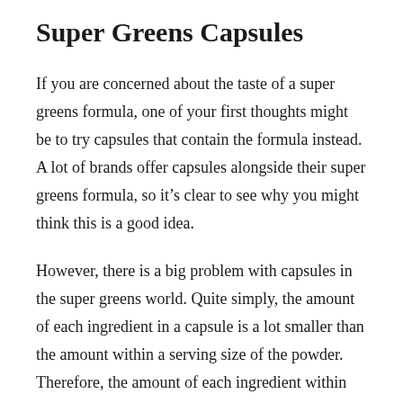Super Greens Capsules
If you are concerned about the taste of a super greens formula, one of your first thoughts might be to try capsules that contain the formula instead. A lot of brands offer capsules alongside their super greens formula, so it’s clear to see why you might think this is a good idea.
However, there is a big problem with capsules in the super greens world. Quite simply, the amount of each ingredient in a capsule is a lot smaller than the amount within a serving size of the powder. Therefore, the amount of each ingredient within